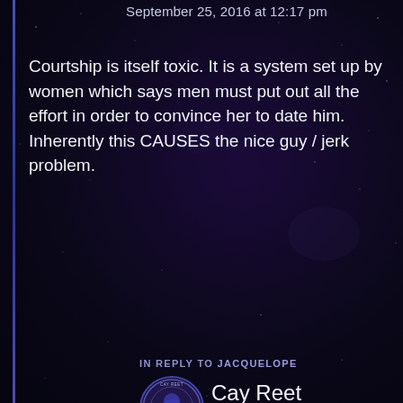September 25, 2016 at 12:17 pm
Courtship is itself toxic. It is a system set up by women which says men must put out all the effort in order to convince her to date him. Inherently this CAUSES the nice guy / jerk problem.
Reply
IN REPLY TO JACQUELOPE
Cay Reet
October 25, 2017 at 1:20 pm
I don't disagree as a such, but tell that to